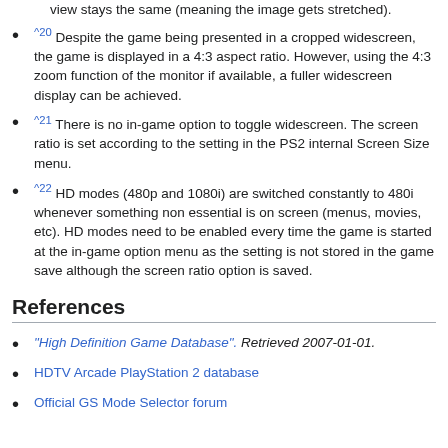scaling of the HUD and HUD elements, the in-game field of view stays the same (meaning the image gets stretched).
^20 Despite the game being presented in a cropped widescreen, the game is displayed in a 4:3 aspect ratio. However, using the 4:3 zoom function of the monitor if available, a fuller widescreen display can be achieved.
^21 There is no in-game option to toggle widescreen. The screen ratio is set according to the setting in the PS2 internal Screen Size menu.
^22 HD modes (480p and 1080i) are switched constantly to 480i whenever something non essential is on screen (menus, movies, etc). HD modes need to be enabled every time the game is started at the in-game option menu as the setting is not stored in the game save although the screen ratio option is saved.
References
"High Definition Game Database". Retrieved 2007-01-01.
HDTV Arcade PlayStation 2 database
Official GS Mode Selector forum